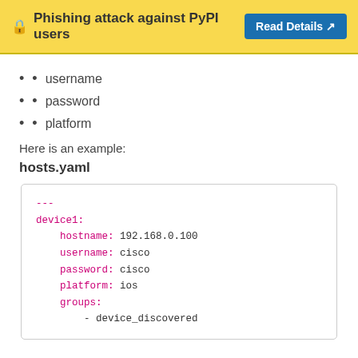🔒 Phishing attack against PyPI users  Read Details ↗
username
password
platform
Here is an example:
hosts.yaml
---
device1:
    hostname: 192.168.0.100
    username: cisco
    password: cisco
    platform: ios
    groups:
        - device_discovered